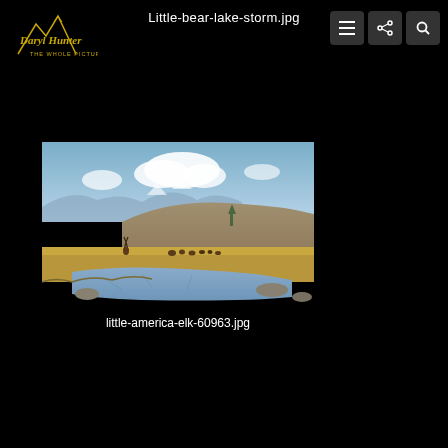Little-bear-lake-storm.jpg
[Figure (logo): Daryl Hunter The Whole Picture logo - stylized mountain with cursive text in gold/yellow]
[Figure (photo): Landscape photo of elk grazing in a field near a pond with mountains and cloudy sky in background - Yellowstone area wildlife scene]
little-america-elk-60963.jpg